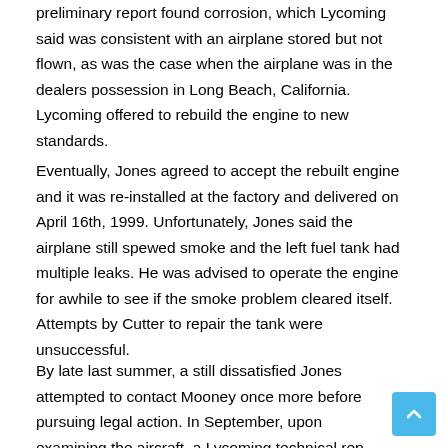preliminary report found corrosion, which Lycoming said was consistent with an airplane stored but not flown, as was the case when the airplane was in the dealers possession in Long Beach, California. Lycoming offered to rebuild the engine to new standards.
Eventually, Jones agreed to accept the rebuilt engine and it was re-installed at the factory and delivered on April 16th, 1999. Unfortunately, Jones said the airplane still spewed smoke and the left fuel tank had multiple leaks. He was advised to operate the engine for awhile to see if the smoke problem cleared itself. Attempts by Cutter to repair the tank were unsuccessful.
By late last summer, a still dissatisfied Jones attempted to contact Mooney once more before pursuing legal action. In September, upon examining the aircraft, a Lycoming technical rep replaced a scavenge pump, theorizing that it was dumping...